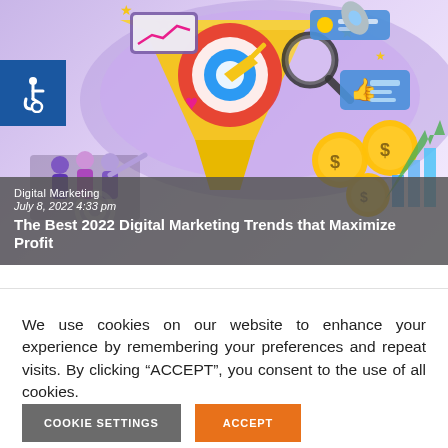[Figure (illustration): Digital marketing themed illustration with funnel, target, magnifying glass, stars, social media icons, dollar coins, and bar chart on purple gradient background. Blue accessibility badge with wheelchair icon in top-left corner.]
Digital Marketing
July 8, 2022 4:33 pm
The Best 2022 Digital Marketing Trends that Maximize Profit
We use cookies on our website to enhance your experience by remembering your preferences and repeat visits. By clicking “ACCEPT”, you consent to the use of all cookies.
COOKIE SETTINGS
ACCEPT